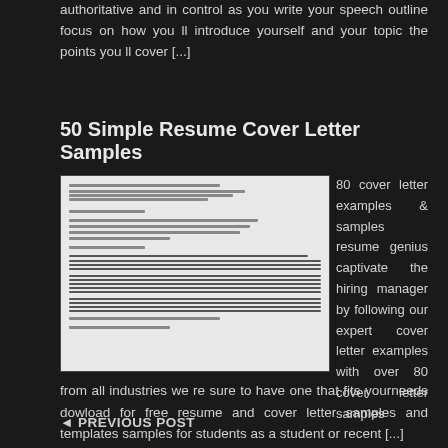authoritative and in control as you write your speech outline focus on how you ll introduce yourself and your topic the points you ll cover [...]
50 Simple Resume Cover Letter Samples
[Figure (photo): A cover letter document sample shown as a preview thumbnail with mock text lines on white background]
80 cover letter examples & samples resume genius captivate the hiring manager by following our expert cover letter examples with over 80 cover letter samples from all industries we re sure to have one that fits yourneeds dowload for free resume and cover letter samples and templates samples for students as a student or recent [...]
◄ PREVIOUS POST